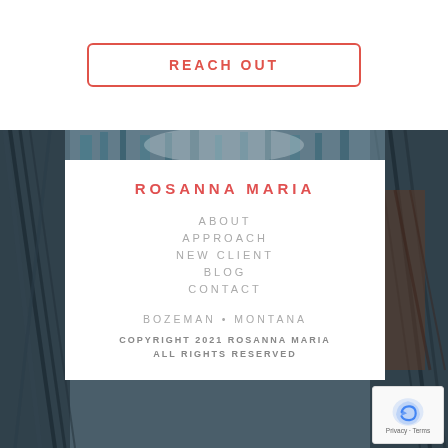REACH OUT
[Figure (photo): Dark feathers and forest background photo behind footer card]
ROSANNA MARIA
ABOUT
APPROACH
NEW CLIENT
BLOG
CONTACT
BOZEMAN • MONTANA
COPYRIGHT 2021 ROSANNA MARIA ALL RIGHTS RESERVED